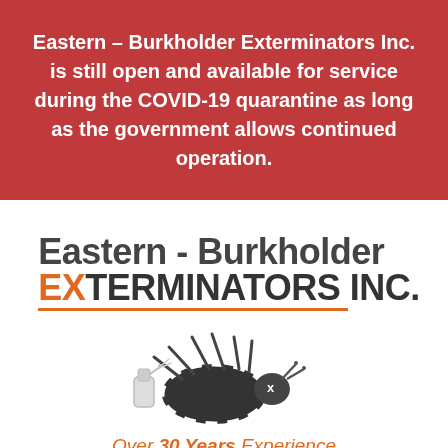Eastern – Burkholder Exterminators Inc. is still open and available for service during the COVID-19 quarantine as long as the government allows continued operation.
[Figure (logo): Eastern - Burkholder Exterminators Inc. logo with company name in two lines, dark grey bold text with orange X and orange underline]
[Figure (illustration): Dead cartoon bug (striped beetle) lying on its back with legs up in the air, with a spray bottle next to it]
Over 30 Years Experience